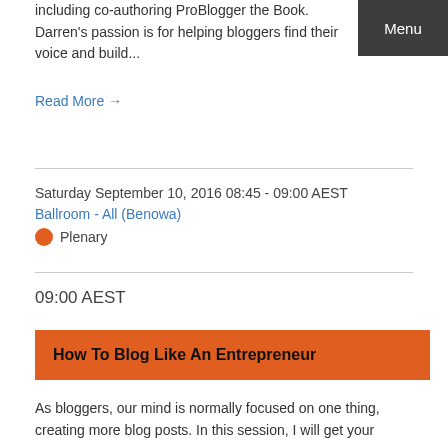including co-authoring ProBlogger the Book. Darren's passion is for helping bloggers find their voice and build...
Read More →
Saturday September 10, 2016 08:45 - 09:00 AEST
Ballroom - All (Benowa)
Plenary
09:00 AEST
How To Blog Like An Entrepreneur
As bloggers, our mind is normally focused on one thing, creating more blog posts. In this session, I will get your